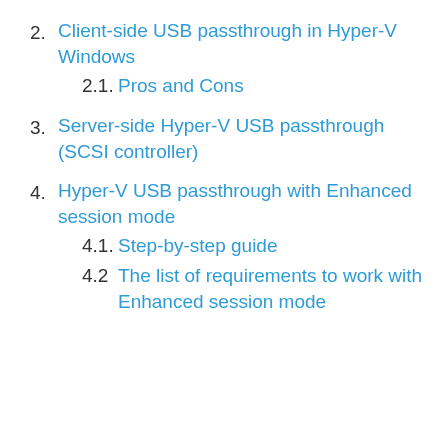2. Client-side USB passthrough in Hyper-V Windows
2.1. Pros and Cons
3. Server-side Hyper-V USB passthrough (SCSI controller)
4. Hyper-V USB passthrough with Enhanced session mode
4.1. Step-by-step guide
4.2 The list of requirements to work with Enhanced session mode